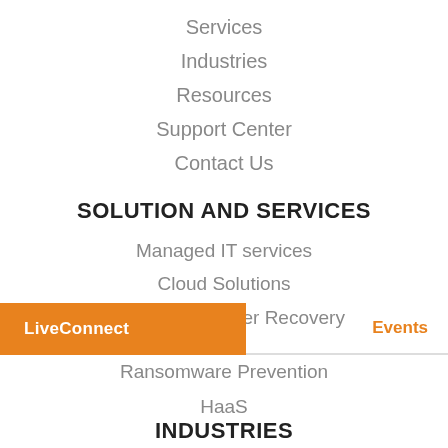Services
Industries
Resources
Support Center
Contact Us
SOLUTION AND SERVICES
Managed IT services
Cloud Solutions
Backup & Disaster Recovery
LiveConnect
Events
Ransomware Prevention
HaaS
INDUSTRIES